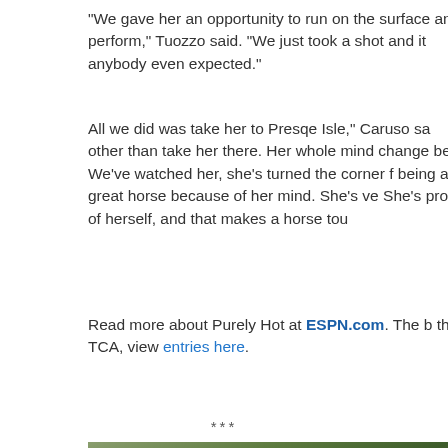"We gave her an opportunity to run on the surface and perform," Tuozzo said. "We just took a shot and it anybody even expected."
All we did was take her to Presqe Isle," Caruso sa other than take her there. Her whole mind change best. We've watched her, she's turned the corner f being a great horse because of her mind. She's ve She's proud of herself, and that makes a horse tou
Read more about Purely Hot at ESPN.com. The b the TCA, view entries here.
***
[Figure (photo): Outdoor photo showing trees with green and golden foliage, appearing to be taken in a park or natural setting]